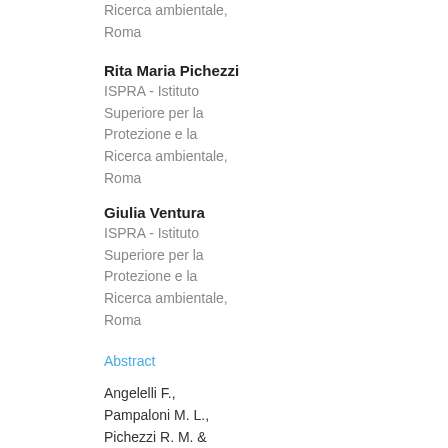Ricerca ambientale, Roma
Rita Maria Pichezzi
ISPRA - Istituto Superiore per la Protezione e la Ricerca ambientale, Roma
Giulia Ventura
ISPRA - Istituto Superiore per la Protezione e la Ricerca ambientale, Roma
Abstract
Angelelli F., Pampaloni M. L., Pichezzi R. M. & Ventura G., Alberto Malatesta: 20 years of activity at the